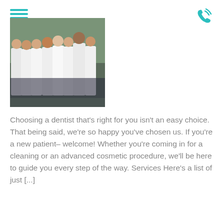[Figure (photo): Group photo of dental staff in white lab coats standing together indoors]
Choosing a dentist that's right for you isn't an easy choice. That being said, we're so happy you've chosen us. If you're a new patient– welcome! Whether you're coming in for a cleaning or an advanced cosmetic procedure, we'll be here to guide you every step of the way. Services Here's a list of just [...]